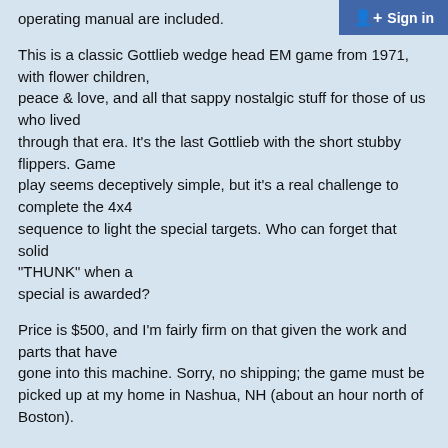Sign in
operating manual are included.
This is a classic Gottlieb wedge head EM game from 1971, with flower children, peace & love, and all that sappy nostalgic stuff for those of us who lived through that era. It's the last Gottlieb with the short stubby flippers. Game play seems deceptively simple, but it's a real challenge to complete the 4x4 sequence to light the special targets. Who can forget that solid "THUNK" when a special is awarded?
Price is $500, and I'm fairly firm on that given the work and parts that have gone into this machine. Sorry, no shipping; the game must be picked up at my home in Nashua, NH (about an hour north of Boston).